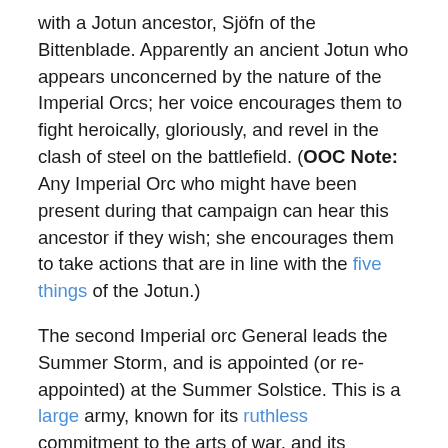with a Jotun ancestor, Sjöfn of the Bittenblade. Apparently an ancient Jotun who appears unconcerned by the nature of the Imperial Orcs; her voice encourages them to fight heroically, gloriously, and revel in the clash of steel on the battlefield. (OOC Note: Any Imperial Orc who might have been present during that campaign can hear this ancestor if they wish; she encourages them to take actions that are in line with the five things of the Jotun.)
The second Imperial orc General leads the Summer Storm, and is appointed (or re-appointed) at the Summer Solstice. This is a large army, known for its ruthless commitment to the arts of war, and its indomitable fighting spirit.
Supply
The Imperial Orcs have long faced a crucial challenge